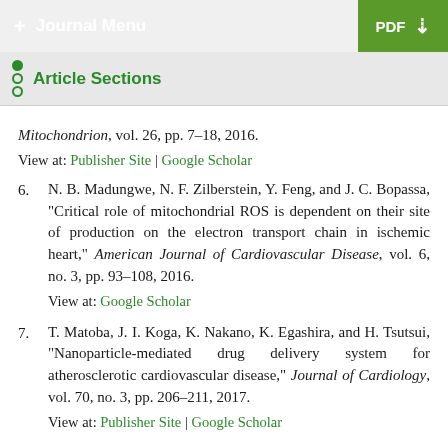+ Journal Menu | PDF
Article Sections
[partial] Mitochondrion, vol. 26, pp. 7–18, 2016. View at: Publisher Site | Google Scholar
6. N. B. Madungwe, N. F. Zilberstein, Y. Feng, and J. C. Bopassa, "Critical role of mitochondrial ROS is dependent on their site of production on the electron transport chain in ischemic heart," American Journal of Cardiovascular Disease, vol. 6, no. 3, pp. 93–108, 2016. View at: Google Scholar
7. T. Matoba, J. I. Koga, K. Nakano, K. Egashira, and H. Tsutsui, "Nanoparticle-mediated drug delivery system for atherosclerotic cardiovascular disease," Journal of Cardiology, vol. 70, no. 3, pp. 206–211, 2017. View at: Publisher Site | Google Scholar